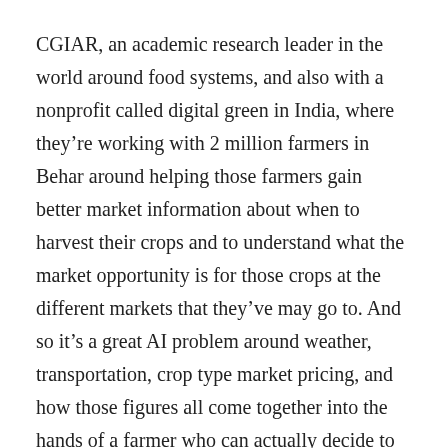CGIAR, an academic research leader in the world around food systems, and also with a nonprofit called digital green in India, where they're working with 2 million farmers in Behar around helping those farmers gain better market information about when to harvest their crops and to understand what the market opportunity is for those crops at the different markets that they've may go to. And so it's a great AI problem around weather, transportation, crop type market pricing, and how those figures all come together into the hands of a farmer who can actually decide to harvest or not.
That's one example. I think other examples with CGIAR really are around biodiversity and understanding information about what to plant given the changing nature of water and precipitation and soil health and providing those insights and that information in a way that small holder farmers in Africa can